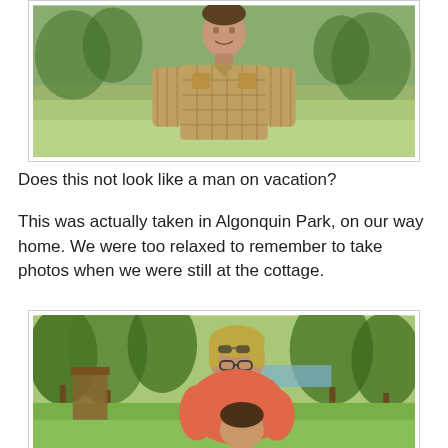[Figure (photo): Man in a plaid/checkered shirt standing outdoors in a park or grassy area, looking relaxed. Green grass and trees visible in background.]
Does this not look like a man on vacation?
This was actually taken in Algonquin Park, on our way home. We were too relaxed to remember to take photos when we were still at the cottage.
[Figure (photo): Woman in a pink/red shirt leaning over a small child in a park. Trees and a lake visible in the background. Sunny day.]